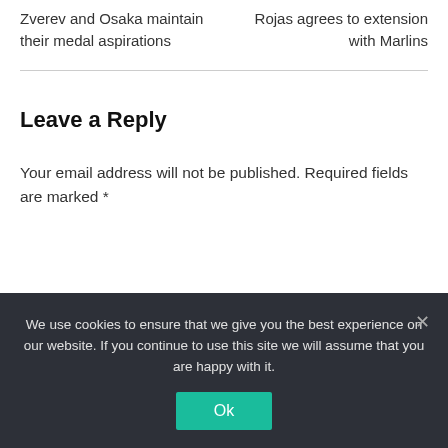Zverev and Osaka maintain their medal aspirations
Rojas agrees to extension with Marlins
Leave a Reply
Your email address will not be published. Required fields are marked *
We use cookies to ensure that we give you the best experience on our website. If you continue to use this site we will assume that you are happy with it.